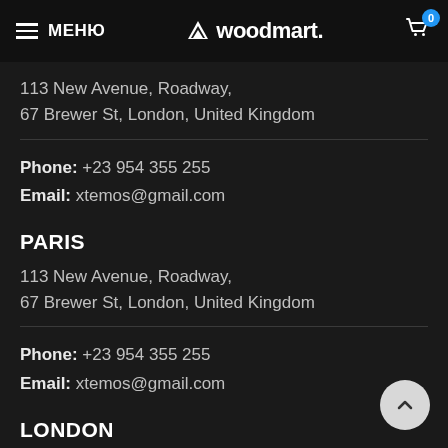МЕНЮ  woodmart.  0
113 New Avenue, Roadway,
67 Brewer St, London, United Kingdom
Phone: +23 954 355 255
Email: xtemos@gmail.com
PARIS
113 New Avenue, Roadway,
67 Brewer St, London, United Kingdom
Phone: +23 954 355 255
Email: xtemos@gmail.com
LONDON
113 New Avenue, Roadway,